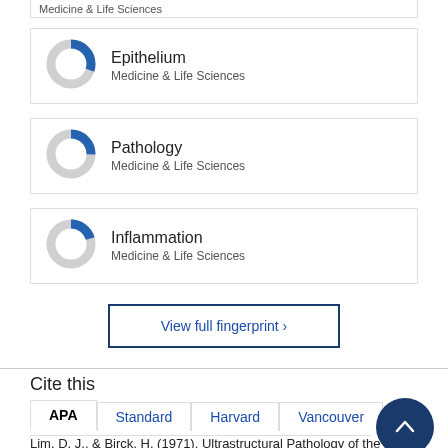Medicine & Life Sciences
[Figure (donut-chart): Partial donut chart showing blue fill approximately 55%, grey remainder, for Epithelium]
Epithelium
Medicine & Life Sciences
[Figure (donut-chart): Partial donut chart showing blue fill approximately 50%, grey remainder, for Pathology]
Pathology
Medicine & Life Sciences
[Figure (donut-chart): Partial donut chart showing blue fill approximately 45%, grey remainder, for Inflammation]
Inflammation
Medicine & Life Sciences
View full fingerprint ›
Cite this
APA  Standard  Harvard  Vancouver
Lim, D. J., & Birck, H. (1971). Ultrastructural Pathology of the